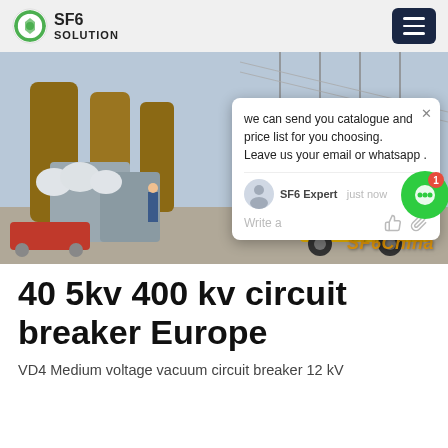SF6 SOLUTION
[Figure (photo): Electrical substation with high-voltage circuit breakers and transformer equipment, yellow truck visible, SF6China watermark, with a chat popup overlay showing: 'we can send you catalogue and price list for you choosing. Leave us your email or whatsapp . SF6 Expert  just now  Write a']
40 5kv 400 kv circuit breaker Europe
VD4 Medium voltage vacuum circuit breaker 12 kV